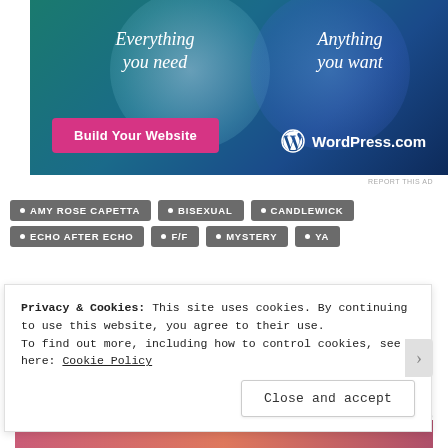[Figure (illustration): WordPress.com advertisement banner with teal and blue gradient background, two overlapping circles, text 'Everything you need' and 'Anything you want', pink 'Build Your Website' button and WordPress.com logo]
REPORT THIS AD
AMY ROSE CAPETTA
BISEXUAL
CANDLEWICK
ECHO AFTER ECHO
F/F
MYSTERY
YA
Privacy & Cookies: This site uses cookies. By continuing to use this website, you agree to their use.
To find out more, including how to control cookies, see here: Cookie Policy
Close and accept